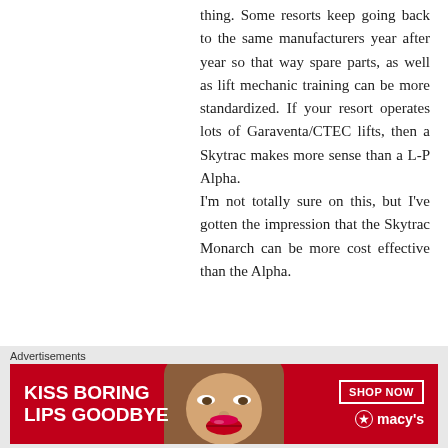thing. Some resorts keep going back to the same manufacturers year after year so that way spare parts, as well as lift mechanic training can be more standardized. If your resort operates lots of Garaventa/CTEC lifts, then a Skytrac makes more sense than a L-P Alpha. I'm not totally sure on this, but I've gotten the impression that the Skytrac Monarch can be more cost effective than the Alpha.
Like
Advertisements
[Figure (illustration): Macy's advertisement banner with red background, text 'KISS BORING LIPS GOODBYE', a SHOP NOW button, Macy's star logo, and a photo of a woman's face with red lips.]